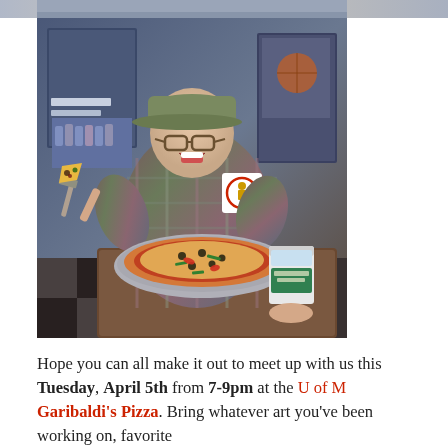[Figure (photo): Partial top edge of a photo visible at top of page]
[Figure (photo): Man wearing a green baseball cap and plaid shirt, eating pizza with a pizza server/spatula, sitting in front of sports memorabilia on walls. A large pizza on a metal tray and a cup with ice are on the table in front of him. He has glasses and appears excited.]
Hope you can all make it out to meet up with us this Tuesday, April 5th from 7-9pm at the U of M Garibaldi's Pizza. Bring whatever art you've been working on, favorite